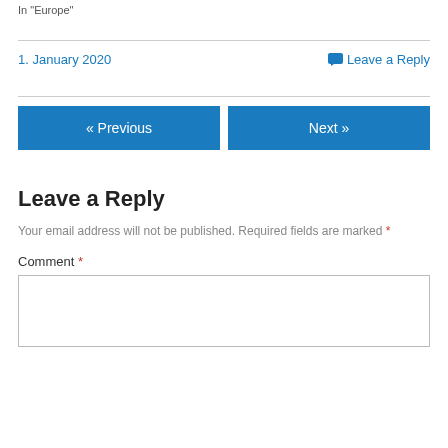In "Europe"
1. January 2020
💬 Leave a Reply
« Previous
Next »
Leave a Reply
Your email address will not be published. Required fields are marked *
Comment *